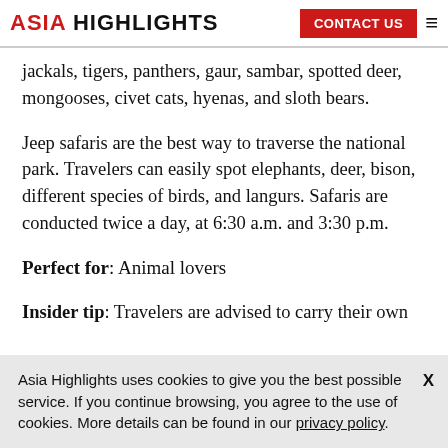ASIA HIGHLIGHTS | CONTACT US
jackals, tigers, panthers, gaur, sambar, spotted deer, mongooses, civet cats, hyenas, and sloth bears.
Jeep safaris are the best way to traverse the national park. Travelers can easily spot elephants, deer, bison, different species of birds, and langurs. Safaris are conducted twice a day, at 6:30 a.m. and 3:30 p.m.
Perfect for: Animal lovers
Insider tip: Travelers are advised to carry their own
Asia Highlights uses cookies to give you the best possible service. If you continue browsing, you agree to the use of cookies. More details can be found in our privacy policy.